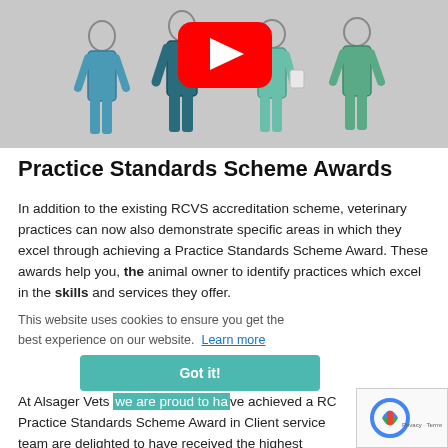[Figure (illustration): Screenshot of a YouTube video thumbnail showing four illustrated veterinary staff figures in scrubs on a grey background, with a YouTube play button overlay in the center.]
Practice Standards Scheme Awards
In addition to the existing RCVS accreditation scheme, veterinary practices can now also demonstrate specific areas in which they excel through achieving a Practice Standards Scheme Award. These awards help you, the animal owner to identify practices which excel in the skills and services they offer.
This website uses cookies to ensure you get the best experience on our website.  Learn more
Got it!
At Alsager Vets we are proud to have achieved a RC Practice Standards Scheme Award in Client service team are delighted to have received the highest accolade